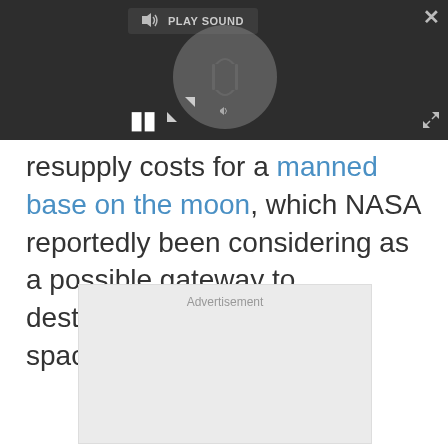[Figure (screenshot): Media player overlay with dark background, spinning loading circle, play sound label, pause button, close button, and expand button]
resupply costs for a manned base on the moon, which NASA reportedly been considering as a possible gateway to destinations farther out in space.
[Figure (other): Advertisement placeholder box with light gray background]